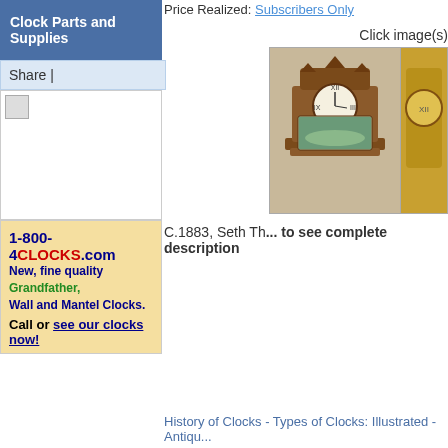Clock Parts and Supplies
Share |
[Figure (other): Broken/missing image placeholder icon]
[Figure (other): Advertisement: 1-800-4CLOCKS.com - New, fine quality Grandfather, Wall and Mantel Clocks. Call or see our clocks now!]
Price Realized: Subscribers Only
Click image(s)
[Figure (photo): C.1883 Seth Thomas antique mantel/shelf clock with ornate wooden case, alongside a partial gold-toned clock image]
C.1883, Seth Th... to see complete description
History of Clocks - Types of Clocks: Illustrated - Antiqu...